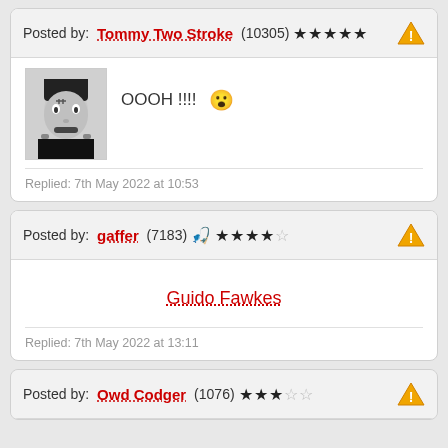Posted by: Tommy Two Stroke (10305) ★★★★★
OOOH !!!!
Replied: 7th May 2022 at 10:53
Posted by: gaffer (7183) ★★★★☆
Guido Fawkes
Replied: 7th May 2022 at 13:11
Posted by: Owd Codger (1076) ★★★☆☆